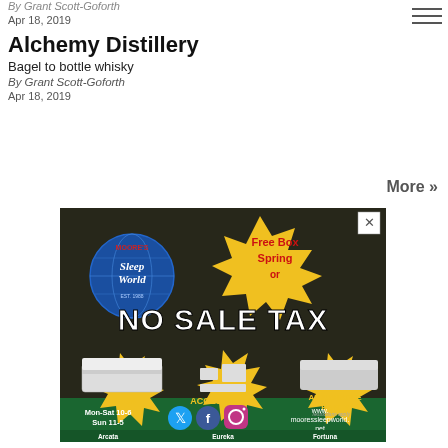By Grant Scott-Goforth
Apr 18, 2019
Alchemy Distillery
Bagel to bottle whisky
By Grant Scott-Goforth
Apr 18, 2019
More »
[Figure (advertisement): Moore's Sleep World advertisement. Dark background with money, text: Free Box Spring or NO SALE TAX, BEDS, ACCESSORIES, ADJUSTABLE BASES. Mon-Sat 10-6 Sun 11-5. Arcata (707) 822-9997, Eureka (707) 444-2337, Fortuna (707) 725-2222. www.mooressleepworld.net]